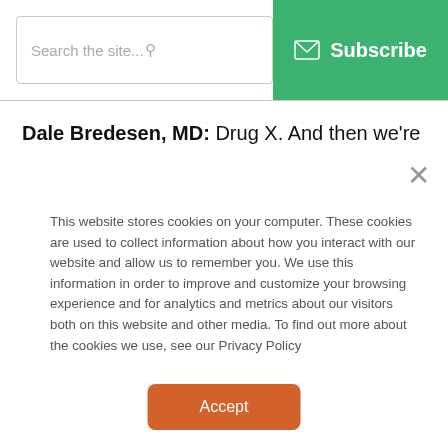[Figure (screenshot): Website header with search box and green Subscribe button with mail icon]
Dale Bredesen, MD: Drug X. And then we're going to have a placebo group. Great. Makes sense. And instead of going after, here's the treatment, because as you said, it has to be different for each person, depending on what is
[Figure (screenshot): Cookie consent popup with close X button, cookie policy text, and orange Accept button]
This website stores cookies on your computer. These cookies are used to collect information about how you interact with our website and allow us to remember you. We use this information in order to improve and customize your browsing experience and for analytics and metrics about our visitors both on this website and other media. To find out more about the cookies we use, see our Privacy Policy